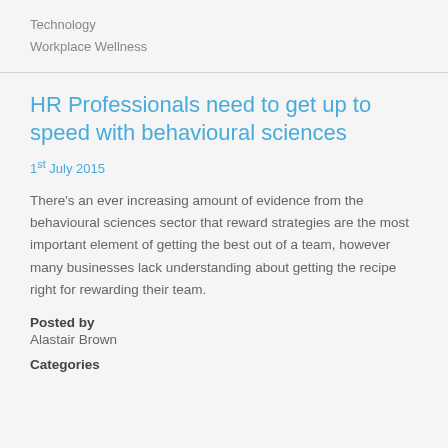Technology
Workplace Wellness
HR Professionals need to get up to speed with behavioural sciences
1st July 2015
There's an ever increasing amount of evidence from the behavioural sciences sector that reward strategies are the most important element of getting the best out of a team, however many businesses lack understanding about getting the recipe right for rewarding their team.
Posted by
Alastair Brown
Categories